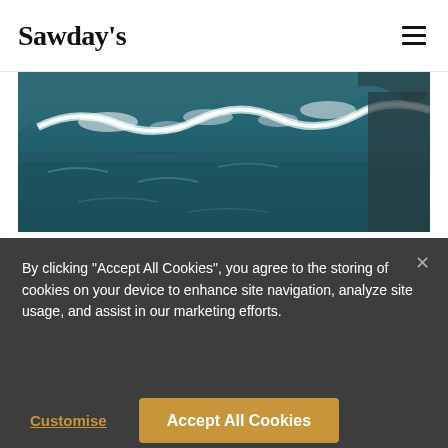Sawday's
[Figure (photo): Aerial view of ocean waves crashing, dark teal sea water with white foam]
Sawday's at home: in
By clicking "Accept All Cookies", you agree to the storing of cookies on your device to enhance site navigation, analyze site usage, and assist in our marketing efforts.
Customise   Accept All Cookies